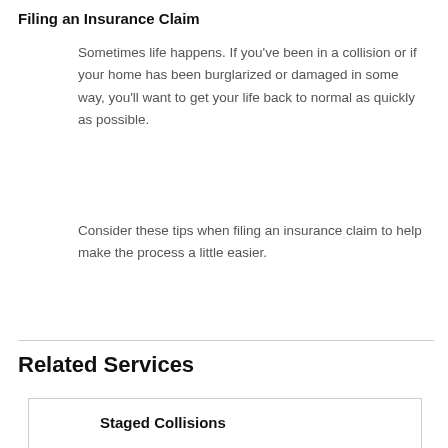Filing an Insurance Claim
Sometimes life happens. If you've been in a collision or if your home has been burglarized or damaged in some way, you'll want to get your life back to normal as quickly as possible.
Consider these tips when filing an insurance claim to help make the process a little easier.
Related Services
Staged Collisions